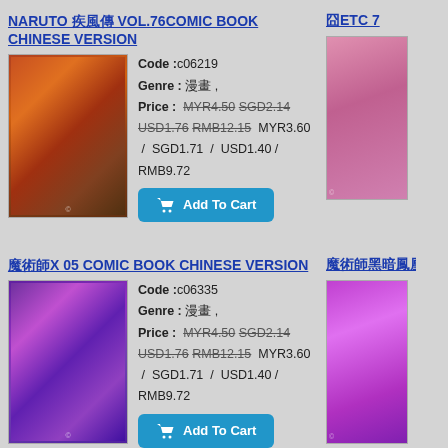NARUTO 疾風傳 VOL.76COMIC BOOK CHINESE VERSION
[Figure (photo): Comic book cover for Naruto Vol.76]
Code :c06219
Genre : 漫畫 ,
Price : MYR4.50 SGD2.14 USD1.76 RMB12.15  MYR3.60 / SGD1.71 / USD1.40 / RMB9.72
Add To Cart
囧ETC 7
[Figure (photo): Partial comic book cover ETC]
魔術師X 05 COMIC BOOK CHINESE VERSION
[Figure (photo): Comic book cover for 魔術師X 05]
Code :c06335
Genre : 漫畫 ,
Price : MYR4.50 SGD2.14 USD1.76 RMB12.15  MYR3.60 / SGD1.71 / USD1.40 / RMB9.72
Add To Cart
魔術師黑暗鳳凰C
[Figure (photo): Partial comic book cover]